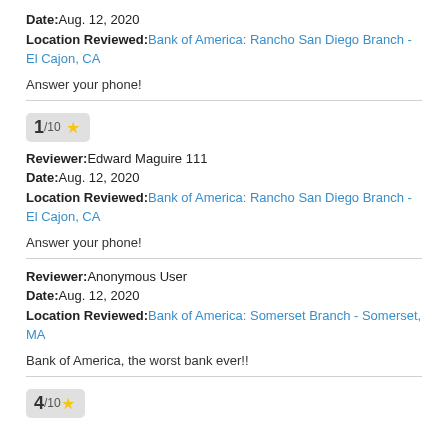Date: Aug. 12, 2020
Location Reviewed: Bank of America: Rancho San Diego Branch - El Cajon, CA
Answer your phone!
1/10 ★
Reviewer: Edward Maguire 111
Date: Aug. 12, 2020
Location Reviewed: Bank of America: Rancho San Diego Branch - El Cajon, CA
Answer your phone!
Reviewer: Anonymous User
Date: Aug. 12, 2020
Location Reviewed: Bank of America: Somerset Branch - Somerset, MA
Bank of America, the worst bank ever!!
4/10 ★